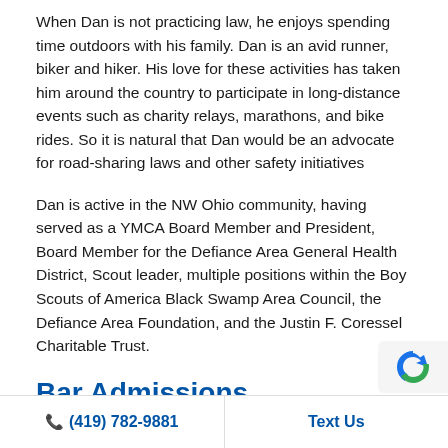When Dan is not practicing law, he enjoys spending time outdoors with his family. Dan is an avid runner, biker and hiker. His love for these activities has taken him around the country to participate in long-distance events such as charity relays, marathons, and bike rides. So it is natural that Dan would be an advocate for road-sharing laws and other safety initiatives
Dan is active in the NW Ohio community, having served as a YMCA Board Member and President, Board Member for the Defiance Area General Health District, Scout leader, multiple positions within the Boy Scouts of America Black Swamp Area Council, the Defiance Area Foundation, and the Justin F. Coressel Charitable Trust.
Bar Admissions
Supreme Court of Ohio, 1996
U.S. District Court Northern District of Ohio, 199
📞 (419) 782-9881   Text Us